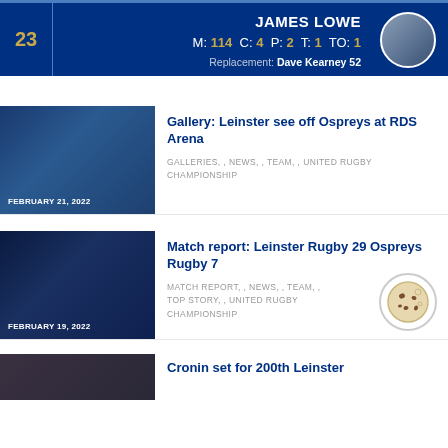| # | Player | Photo |
| --- | --- | --- |
| 23 | JAMES LOWE | M: 114  C: 4  P: 2  T: 1  TO: 1 | Replacement: Dave Kearney 52 |  |
[Figure (photo): Rugby match action photo with date overlay FEBRUARY 21, 2022]
Gallery: Leinster see off Ospreys at RDS Arena
GALLERIES, , NEWS, , TEAM, , UNITED RUGBY CHAMPIONSHIP
[Figure (photo): Rugby match night action photo with date overlay FEBRUARY 19, 2022]
Match report: Leinster Rugby 29 Ospreys Rugby 7
MATCH REPORT, , NEWS, , TEAM, , TOP STORY, , UNITED RUGBY CHAMPIONSHIP
[Figure (photo): Partial photo for third article: Cronin set for 200th Leinster...]
Cronin set for 200th Leinster...